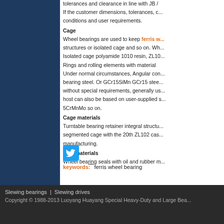tolerances and clearance in line with JB / If the customer dimensions, tolerances, c... conditions and user requirements.
Cage
Wheel bearings are used to keep ferris w... structures or isolated cage and so on. Wh... Isolated cage polyamide 1010 resin, ZL10... Rings and rolling elements with material Under normal circumstances, Angular con... bearing steel. Or GCr15SiMn GCr15 stee... without special requirements, generally us... host can also be based on user-supplied s... 5CrMnMo so on.
Cage materials
Turntable bearing retainer integral structu... segmented cage with the 20th ZL102 cas... manufacturing.
Seal materials
Wheel bearing seals with oil and rubber m...
[Figure (logo): Twitter bird icon in a blue rounded square button]
keywords: ferris wheel bearing
Slewing bearings | Slewing drives
Copyright © 1988-2013 Luoyang Huayang Special Heavy-Duty and Large Bea...